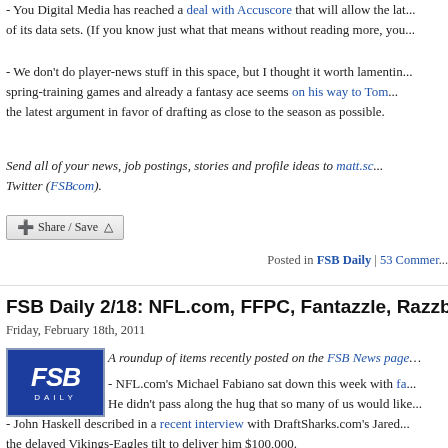- You Digital Media has reached a deal with Accuscore that will allow the lat... of its data sets. (If you know just what that means without reading more, you...
- We don't do player-news stuff in this space, but I thought it worth lamentin... spring-training games and already a fantasy ace seems on his way to Tom... the latest argument in favor of drafting as close to the season as possible.
Send all of your news, job postings, stories and profile ideas to matt.sc... Twitter (FSBcom).
[Figure (other): Share/Save button]
Posted in FSB Daily | 53 Commen...
FSB Daily 2/18: NFL.com, FFPC, Fantazzle, Razzball, L...
Friday, February 18th, 2011
[Figure (logo): FSB Daily logo — blue background with FSB text and DAILY below]
A roundup of items recently posted on the FSB News page...
- NFL.com's Michael Fabiano sat down this week with fa... He didn't pass along the hug that so many of us would like...
- John Haskell described in a recent interview with DraftSharks.com's Jared... the delayed Vikings-Eagles tilt to deliver him $100,000.
- A couple of interesting things going on over at Fantazzle.com this weeke... dwindle, Fantazzle opens its racing season with Sunday's Daytona 500.... looking for a reason to be interested in the all-star game — there's an...